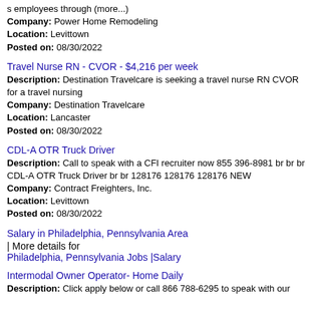s employees through (more...)
Company: Power Home Remodeling
Location: Levittown
Posted on: 08/30/2022
Travel Nurse RN - CVOR - $4,216 per week
Description: Destination Travelcare is seeking a travel nurse RN CVOR for a travel nursing
Company: Destination Travelcare
Location: Lancaster
Posted on: 08/30/2022
CDL-A OTR Truck Driver
Description: Call to speak with a CFI recruiter now 855 396-8981 br br br CDL-A OTR Truck Driver br br 128176 128176 128176 NEW
Company: Contract Freighters, Inc.
Location: Levittown
Posted on: 08/30/2022
Salary in Philadelphia, Pennsylvania Area | More details for Philadelphia, Pennsylvania Jobs |Salary
Intermodal Owner Operator- Home Daily
Description: Click apply below or call 866 788-6295 to speak with our